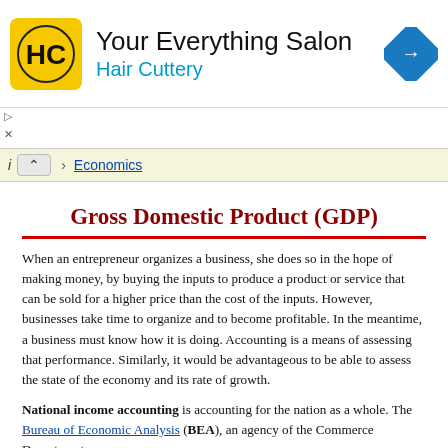[Figure (logo): Hair Cuttery advertisement banner with HC logo, company name 'Your Everything Salon / Hair Cuttery', and a blue direction sign arrow icon]
▷
×
i  ∧  ›  Economics
Gross Domestic Product (GDP)
When an entrepreneur organizes a business, she does so in the hope of making money, by buying the inputs to produce a product or service that can be sold for a higher price than the cost of the inputs. However, businesses take time to organize and to become profitable. In the meantime, a business must know how it is doing. Accounting is a means of assessing that performance. Similarly, it would be advantageous to be able to assess the state of the economy and its rate of growth.
National income accounting is accounting for the nation as a whole. The Bureau of Economic Analysis (BEA), an agency of the Commerce Department...